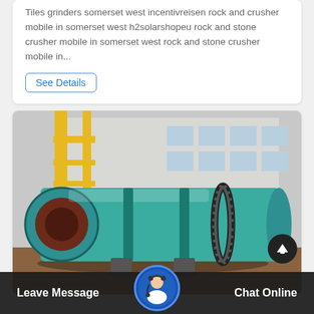Tiles grinders somerset west incentivreisen rock and crusher mobile in somerset west h2solarshopeu rock and stone crusher mobile in somerset west rock and stone crusher mobile in...
See Details
[Figure (photo): Large industrial rotary drum/cylinder machine (likely a ball mill or rotary dryer) painted teal/green, lying horizontally in a factory yard with yellow crane structure in the background and a gear ring visible on the cylinder body.]
Leave Message    Chat Online